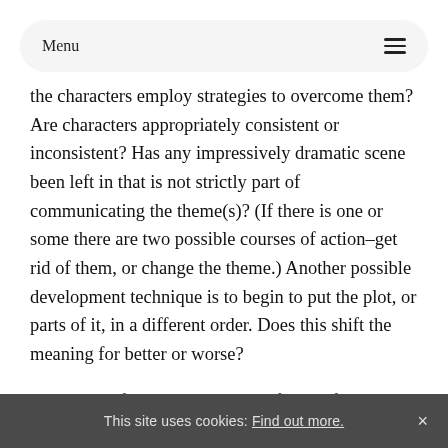Menu
the characters employ strategies to overcome them? Are characters appropriately consistent or inconsistent? Has any impressively dramatic scene been left in that is not strictly part of communicating the theme(s)? (If there is one or some there are two possible courses of action–get rid of them, or change the theme.) Another possible development technique is to begin to put the plot, or parts of it, in a different order. Does this shift the meaning for better or worse?
This stage of construction is painful and frustrating; however, gradually things begin to fit together and the
This site uses cookies: Find out more. ×